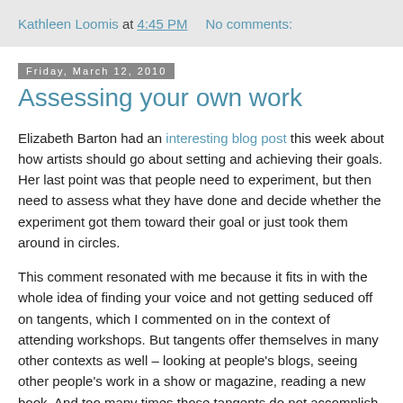Kathleen Loomis at 4:45 PM   No comments:
Friday, March 12, 2010
Assessing your own work
Elizabeth Barton had an interesting blog post this week about how artists should go about setting and achieving their goals. Her last point was that people need to experiment, but then need to assess what they have done and decide whether the experiment got them toward their goal or just took them around in circles.
This comment resonated with me because it fits in with the whole idea of finding your voice and not getting seduced off on tangents, which I commented on in the context of attending workshops. But tangents offer themselves in many other contexts as well – looking at people's blogs, seeing other people's work in a show or magazine, reading a new book. And too many times those tangents do not accomplish much except to take up time and produce work that may be